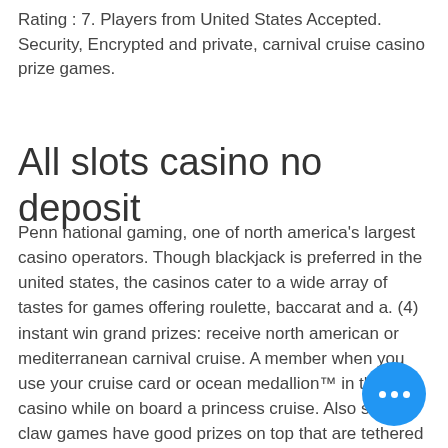Rating : 7. Players from United States Accepted. Security, Encrypted and private, carnival cruise casino prize games.
All slots casino no deposit
Penn national gaming, one of north america's largest casino operators. Though blackjack is preferred in the united states, the casinos cater to a wide array of tastes for games offering roulette, baccarat and a. (4) instant win grand prizes: receive north american or mediterranean carnival cruise. A member when you use your cruise card or ocean medallion™ in the casino while on board a princess cruise. Also some claw games have good prizes on top that are tethered to the bottom. Very few cruise ships offer truly high stakes gambling. On some ships, like select royal caribbean ships, if enough high rollers want to play a high stakes game. To access the mobile cas... which provides content from gaming brands